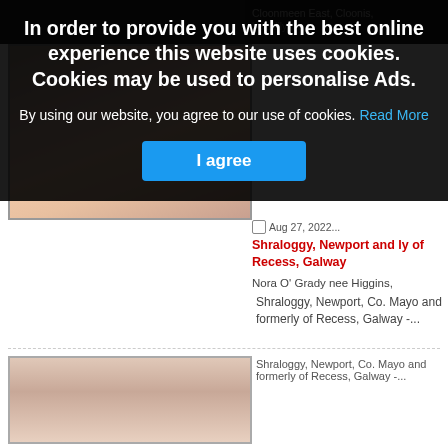[Figure (photo): Partial top image strip, dark background showing photo]
Cloonmeen East, Cloonis,
[Figure (photo): Partial article image with orange/pinkish tones (person)]
Shraloggy, Newport, Co. Mayo and formerly of Recess, Galway -...
In order to provide you with the best online experience this website uses cookies. Cookies may be used to personalise Ads.
By using our website, you agree to our use of cookies. Read More
I agree
[Figure (photo): Photo of elderly man with grey hair in dark sweater]
Aug 27, 2022
Joe Kilcoyne, Ballinabole, Ballinacarrow, Ballymote, Co. Sligo
Joe Kilcoyne,

Ballinabole Ballinacarrow, Ballymote, Co. Sligo - peacefully at North West...